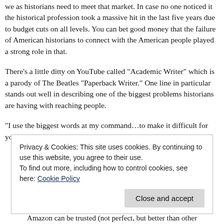we as historians need to meet that market. In case no one noticed it the historical profession took a massive hit in the last five years due to budget cuts on all levels. You can bet good money that the failure of American historians to connect with the American people played a strong role in that.
There’s a little ditty on YouTube called “Academic Writer” which is a parody of The Beatles “Paperback Writer.” One line in particular stands out well in describing one of the biggest problems historians are having with reaching people.
“I use the biggest words at my command…to make it difficult for you to understand.”
Privacy & Cookies: This site uses cookies. By continuing to use this website, you agree to their use.
To find out more, including how to control cookies, see here: Cookie Policy
Amazon can be trusted (not perfect, but better than other